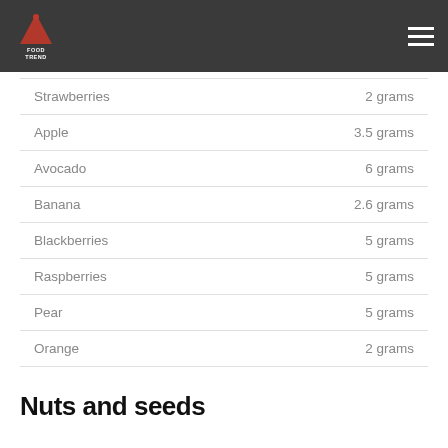FoodTrend logo and navigation
| Food | Amount |
| --- | --- |
| Strawberries | 2 grams |
| Apple | 3.5 grams |
| Avocado | 6 grams |
| Banana | 2.6 grams |
| Blackberries | 5 grams |
| Raspberries | 5 grams |
| Pear | 5 grams |
| Orange | 2 grams |
Nuts and seeds